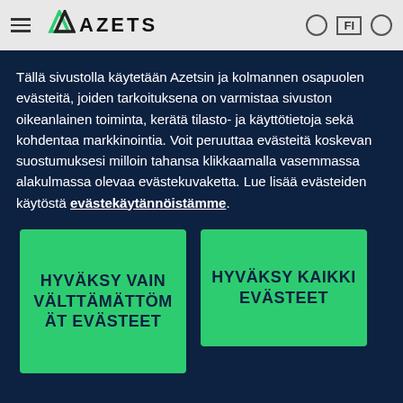[Figure (logo): Azets company logo with hamburger menu icon on left and search/language icons on right in a light grey header bar]
Tällä sivustolla käytetään Azetsin ja kolmannen osapuolen evästeitä, joiden tarkoituksena on varmistaa sivuston oikeanlainen toiminta, kerätä tilasto- ja käyttötietoja sekä kohdentaa markkinointia. Voit peruuttaa evästeitä koskevan suostumuksesi milloin tahansa klikkaamalla vasemmassa alakulmassa olevaa evästekuvaketta. Lue lisää evästeiden käytöstä evästekäytännöistämme.
HYVÄKSY VAIN VÄLTTÄMÄTTÖMÄT EVÄSTEET
HYVÄKSY KAIKKI EVÄSTEET